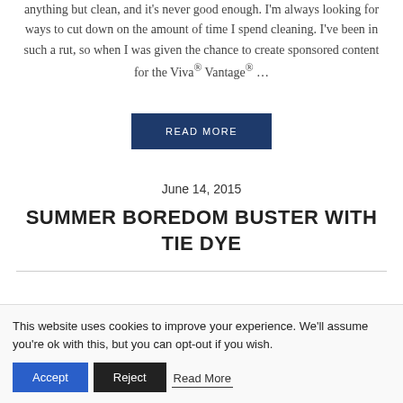anything but clean, and it's never good enough. I'm always looking for ways to cut down on the amount of time I spend cleaning. I've been in such a rut, so when I was given the chance to create sponsored content for the Viva® Vantage® …
READ MORE
June 14, 2015
SUMMER BOREDOM BUSTER WITH TIE DYE
This website uses cookies to improve your experience. We'll assume you're ok with this, but you can opt-out if you wish.
Accept
Reject
Read More